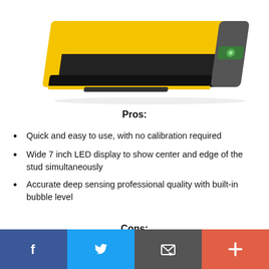[Figure (photo): Stud finder tool — yellow and black handheld device with bubble level, viewed from above at an angle, on white background.]
Pros:
Quick and easy to use, with no calibration required
Wide 7 inch LED display to show center and edge of the stud simultaneously
Accurate deep sensing professional quality with built-in bubble level
Cons:
[Figure (infographic): Social share bar with four buttons: Facebook (blue), Twitter (light blue), Email/envelope (gray), Plus/add (red-orange).]